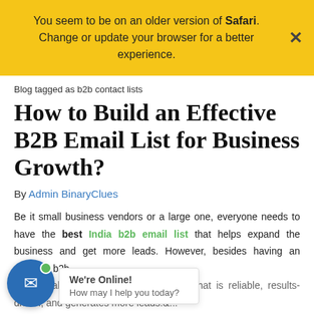You seem to be on an older version of Safari. Change or update your browser for a better experience.
Blog tagged as b2b contact lists
How to Build an Effective B2B Email List for Business Growth?
By Admin BinaryClues
Be it small business vendors or a large one, everyone needs to have the best India b2b email list that helps expand the business and get more leads. However, besides having an effective b2b ..., it is also essential to have the list that is reliable, results-driven, and generates more leads.&...